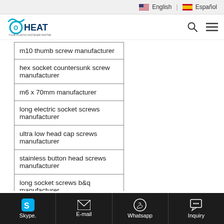English | Español
[Figure (logo): Oheat logo with stylized wave above text and tagline]
| m10 thumb screw manufacturer |
| hex socket countersunk screw manufacturer |
| m6 x 70mm manufacturer |
| long electric socket screws manufacturer |
| ultra low head cap screws manufacturer |
| stainless button head screws manufacturer |
| long socket screws b&q manufacturer |
| m3 socket manufacturer |
| flat head cap manufacturer |
Skype. | E-mail | Whatsapp | Inquiry